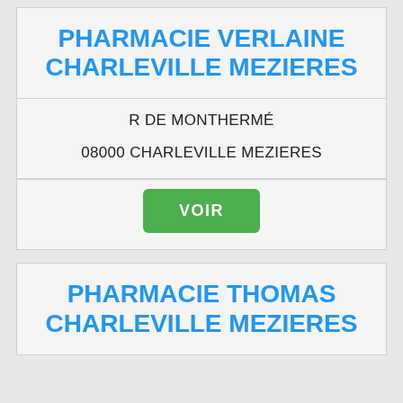PHARMACIE VERLAINE CHARLEVILLE MEZIERES
R DE MONTHERMÉ
08000 CHARLEVILLE MEZIERES
VOIR
PHARMACIE THOMAS CHARLEVILLE MEZIERES